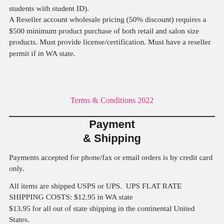students with student ID). A Reseller account wholesale pricing (50% discount) requires a $500 minimum product purchase of both retail and salon size products. Must provide license/certification. Must have a reseller permit if in WA state.
Terms & Conditions 2022
Payment & Shipping
Payments accepted for phone/fax or email orders is by credit card only.
All items are shipped USPS or UPS.  UPS FLAT RATE SHIPPING COSTS: $12.95 in WA state
$13.95 for all out of state shipping in the continental United States.